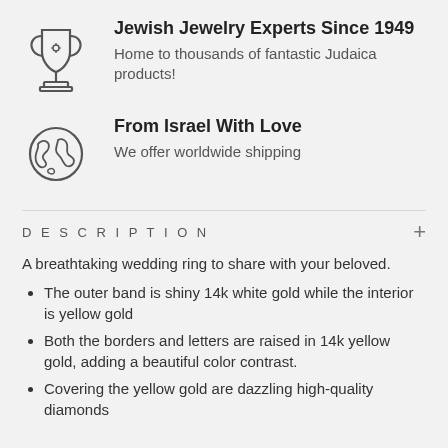[Figure (illustration): Trophy/cup icon (outline style)]
Jewish Jewelry Experts Since 1949
Home to thousands of fantastic Judaica products!
[Figure (illustration): Globe/earth icon (outline style)]
From Israel With Love
We offer worldwide shipping
DESCRIPTION
A breathtaking wedding ring to share with your beloved.
The outer band is shiny 14k white gold while the interior is yellow gold
Both the borders and letters are raised in 14k yellow gold, adding a beautiful color contrast.
Covering the yellow gold are dazzling high-quality diamonds